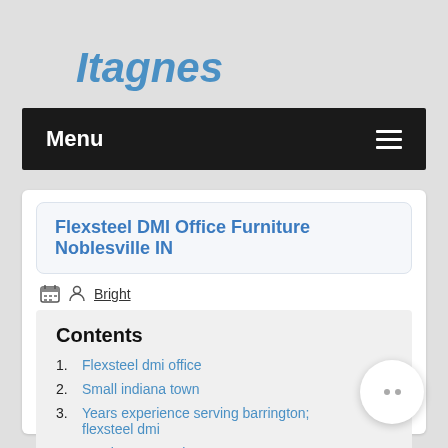Itagnes
Menu
Flexsteel DMI Office Furniture Noblesville IN
Bright
Contents
1. Flexsteel dmi office
2. Small indiana town
3. Years experience serving barrington; flexsteel dmi
4. Furniture scott city